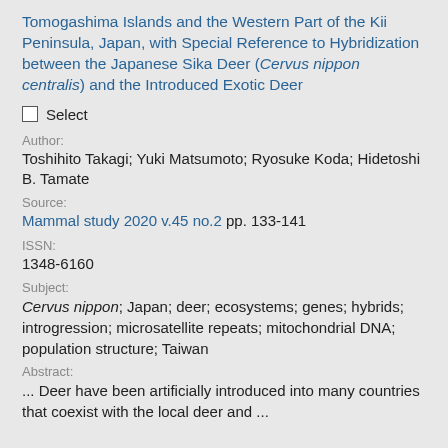Tomogashima Islands and the Western Part of the Kii Peninsula, Japan, with Special Reference to Hybridization between the Japanese Sika Deer (Cervus nippon centralis) and the Introduced Exotic Deer
Select
Author:
Toshihito Takagi; Yuki Matsumoto; Ryosuke Koda; Hidetoshi B. Tamate
Source:
Mammal study 2020 v.45 no.2 pp. 133-141
ISSN:
1348-6160
Subject:
Cervus nippon; Japan; deer; ecosystems; genes; hybrids; introgression; microsatellite repeats; mitochondrial DNA; population structure; Taiwan
Abstract:
... Deer have been artificially introduced into many countries that coexist with the local deer and ...